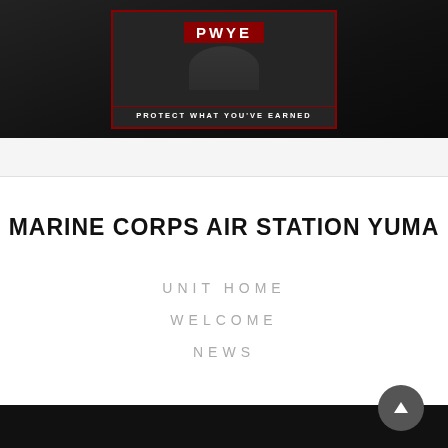[Figure (photo): Dark military-themed banner image with 'PWYE' text in red box and 'PROTECT WHAT YOU'VE EARNED' text at bottom, with military imagery in background]
MARINE CORPS AIR STATION YUMA
UNIT HOME
WELCOME
NEWS